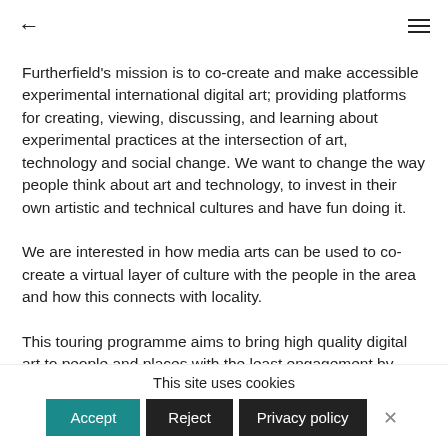← ≡
Furtherfield's mission is to co-create and make accessible experimental international digital art; providing platforms for creating, viewing, discussing, and learning about experimental practices at the intersection of art, technology and social change. We want to change the way people think about art and technology, to invest in their own artistic and technical cultures and have fun doing it.
We are interested in how media arts can be used to co-create a virtual layer of culture with the people in the area and how this connects with locality.
This touring programme aims to bring high quality digital art to people and places with the least engagement by working with
This site uses cookies
Accept  Reject  Privacy policy  ×